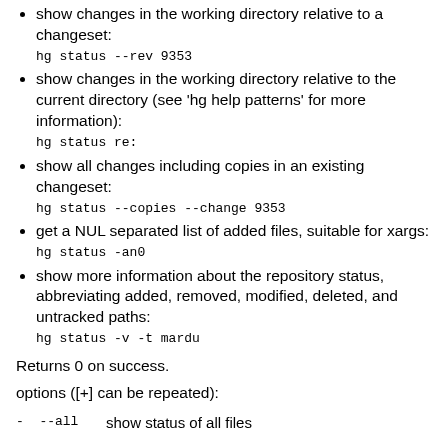show changes in the working directory relative to a changeset:
hg status --rev 9353
show changes in the working directory relative to the current directory (see 'hg help patterns' for more information):
hg status re:
show all changes including copies in an existing changeset:
hg status --copies --change 9353
get a NUL separated list of added files, suitable for xargs:
hg status -an0
show more information about the repository status, abbreviating added, removed, modified, deleted, and untracked paths:
hg status -v -t mardu
Returns 0 on success.
options ([+] can be repeated):
| - | --all | show status of all files |
| --- | --- | --- |